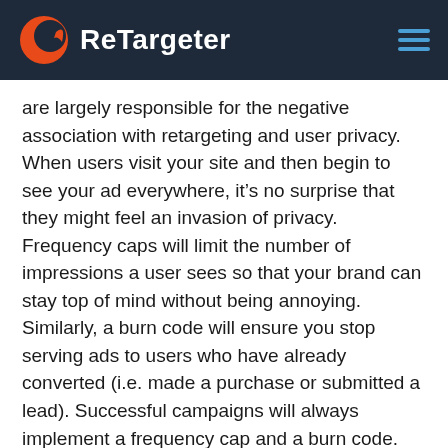ReTargeter
are largely responsible for the negative association with retargeting and user privacy. When users visit your site and then begin to see your ad everywhere, it’s no surprise that they might feel an invasion of privacy. Frequency caps will limit the number of impressions a user sees so that your brand can stay top of mind without being annoying. Similarly, a burn code will ensure you stop serving ads to users who have already converted (i.e. made a purchase or submitted a lead). Successful campaigns will always implement a frequency cap and a burn code.
The first step to any successful retargeting campaign is to understand how retargeting can work for your